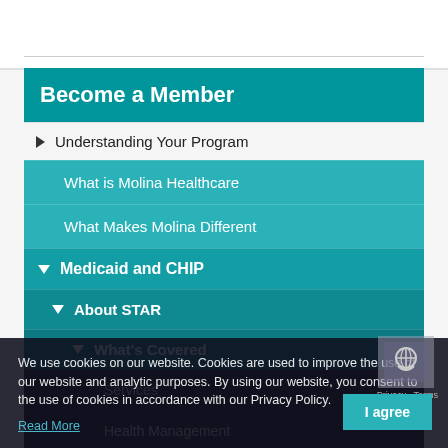Become a Member
Understanding Your Program
What is Molina Healthcare
What Makes Molina Different
Medicaid and CHIP
About STAR
What's Covered
Services
Health Management
Behavioral Health
Prescription Drugs
We use cookies on our website. Cookies are used to improve the use of our website and analytic purposes. By using our website, you consent to the use of cookies in accordance with our Privacy Policy.
Read More
I agree